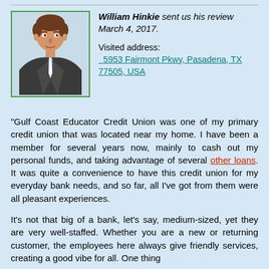[Figure (illustration): Generic male avatar/silhouette in business suit with blue tie, inside a green-bordered box]
William Hinkie sent us his review March 4, 2017.
Visited address: 5953 Fairmont Pkwy, Pasadena, TX 77505, USA
"Gulf Coast Educator Credit Union was one of my primary credit union that was located near my home. I have been a member for several years now, mainly to cash out my personal funds, and taking advantage of several other loans. It was quite a convenience to have this credit union for my everyday bank needs, and so far, all I've got from them were all pleasant experiences.
It's not that big of a bank, let's say, medium-sized, yet they are very well-staffed. Whether you are a new or returning customer, the employees here always give friendly services, creating a good vibe for all. One thing